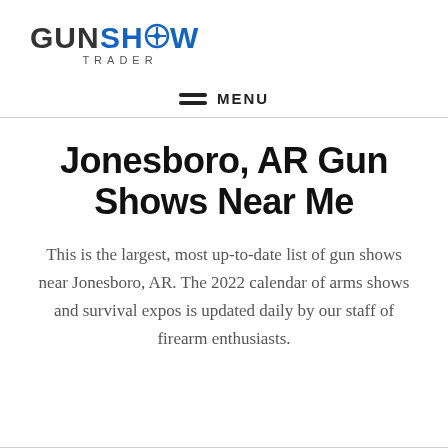GUN SHOW TRADER
≡ MENU
Jonesboro, AR Gun Shows Near Me
This is the largest, most up-to-date list of gun shows near Jonesboro, AR. The 2022 calendar of arms shows and survival expos is updated daily by our staff of firearm enthusiasts.